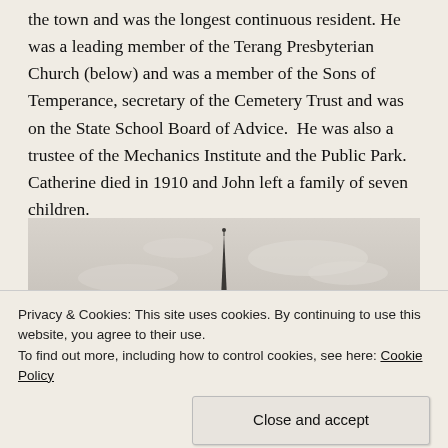the town and was the longest continuous resident. He was a leading member of the Terang Presbyterian Church (below) and was a member of the Sons of Temperance, secretary of the Cemetery Trust and was on the State School Board of Advice.  He was also a trustee of the Mechanics Institute and the Public Park.  Catherine died in 1910 and John left a family of seven children.
[Figure (photo): Black and white photograph showing a church spire against a cloudy sky, with the lower portion of the building partially visible.]
Privacy & Cookies: This site uses cookies. By continuing to use this website, you agree to their use.
To find out more, including how to control cookies, see here: Cookie Policy